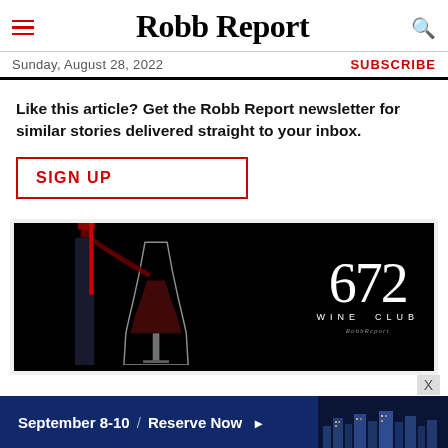Robb Report
Sunday, August 28, 2022
SUBSCRIBE
Like this article? Get the Robb Report newsletter for similar stories delivered straight to your inbox.
SIGN UP
[Figure (photo): 672 Wine Club advertisement banner showing a wine bottle and glass being filled, with '672 WINE CLUB' text and Robb Report branding on a black background]
[Figure (photo): Bottom advertisement banner reading 'September 8-10 / Reserve Now' on a dark blue background with city nightscape imagery on the right]